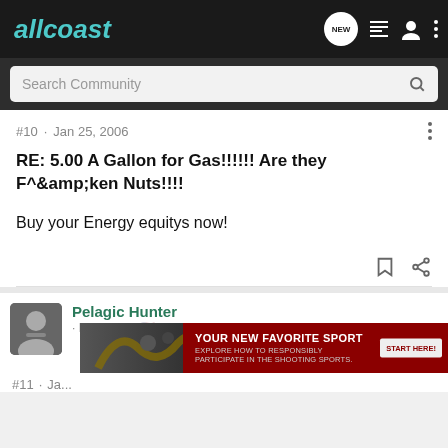allcoast
Search Community
#10 · Jan 25, 2006
RE: 5.00 A Gallon for Gas!!!!!! Are they F^&amp;amp;ken Nuts!!!!
Buy your Energy equitys now!
Pelagic Hunter · Registered 🇺🇸
[Figure (photo): Advertisement banner: YOUR NEW FAVORITE SPORT - Explore how to responsibly participate in the shooting sports. START HERE!]
#11 · Ja...